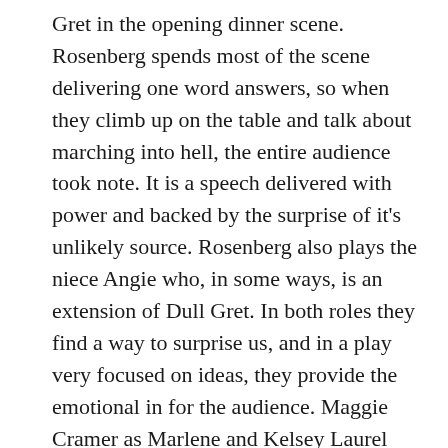Gret in the opening dinner scene. Rosenberg spends most of the scene delivering one word answers, so when they climb up on the table and talk about marching into hell, the entire audience took note. It is a speech delivered with power and backed by the surprise of it's unlikely source. Rosenberg also plays the niece Angie who, in some ways, is an extension of Dull Gret. In both roles they find a way to surprise us, and in a play very focused on ideas, they provide the emotional in for the audience. Maggie Cramer as Marlene and Kelsey Laurel Cramer as her sister Joyce have a brilliant interaction in the final scenes where our sympathies change. It really is a brilliant script. The cast is rounded out by Megan Kim and Nissa Nordland Morgan as the employees of Top Girls, with Sarah Broude and Ninchai Nok-Chiclana as clients in little vignettes illustrating the complexities of these women: their roles, their